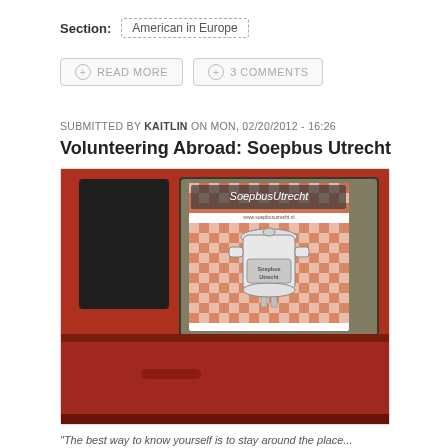Section: American in Europe
READ MORE   3 COMMENTS
SUBMITTED BY KAITLIN ON MON, 02/20/2012 - 16:26
Volunteering Abroad: Soepbus Utrecht
[Figure (photo): Photo of a red van/car window with a Soepbus Utrecht poster visible inside the window. The poster features a checkered tablecloth pattern and a drawing of a soup pot with the text 'SoepbusUtrecht'.]
"The best way to know yourself is to stay around the place..."